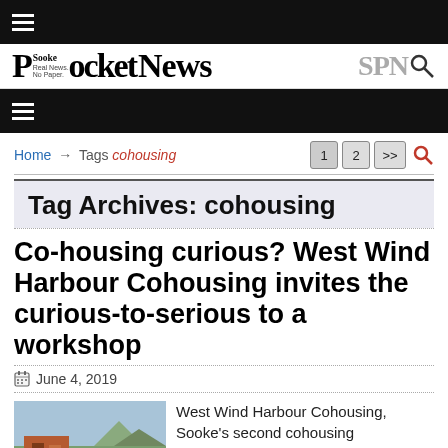≡ (hamburger menu)
[Figure (logo): Sooke Pocket News logo with tagline 'Real News. No Paper.' and SPN search icon]
≡ (second hamburger menu)
Home → Tags cohousing  [pagination: 1, 2, >>]
Tag Archives: cohousing
Co-housing curious? West Wind Harbour Cohousing invites the curious-to-serious to a workshop
June 4, 2019
West Wind Harbour Cohousing, Sooke's second cohousing